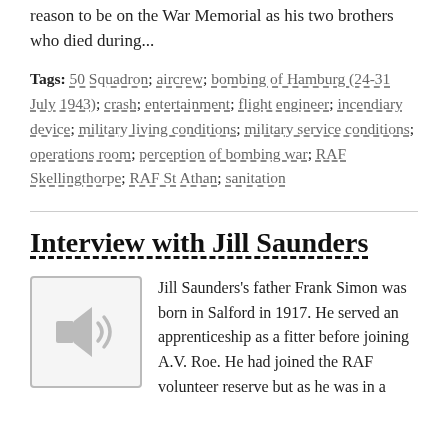reason to be on the War Memorial as his two brothers who died during...
Tags: 50 Squadron; aircrew; bombing of Hamburg (24-31 July 1943); crash; entertainment; flight engineer; incendiary device; military living conditions; military service conditions; operations room; perception of bombing war; RAF Skellingthorpe; RAF St Athan; sanitation
Interview with Jill Saunders
[Figure (other): Audio icon - speaker with sound waves, grey on light grey background]
Jill Saunders's father Frank Simon was born in Salford in 1917. He served an apprenticeship as a fitter before joining A.V. Roe. He had joined the RAF volunteer reserve but as he was in a